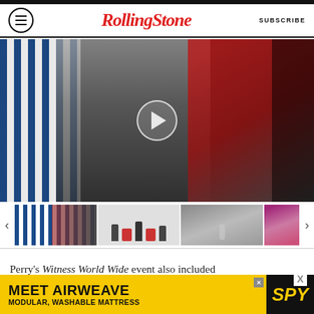Rolling Stone — SUBSCRIBE
[Figure (screenshot): Video thumbnail showing people in a dressing room, one wearing a blue and white striped shirt, another in a red top with tattoos. A play button overlay is visible in the center.]
[Figure (screenshot): Thumbnail carousel with four video thumbnails including dressing room scene, interview scene with red chairs, woman singing into microphone, and performer on stage. Navigation arrows on left and right.]
Perry's Witness World Wide event also included
MEET AIRWEAVE — MODULAR, WASHABLE MATTRESS — SPY advertisement banner